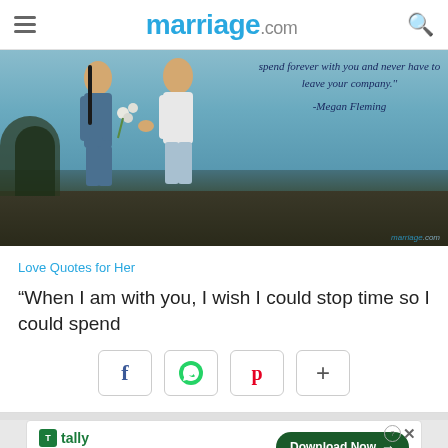marriage.com
[Figure (photo): Couple standing outdoors exchanging flowers, with quote overlay: 'spend forever with you and never have to leave your company.' -Megan Fleming, and marriage.com watermark]
Love Quotes for Her
“When I am with you, I wish I could stop time so I could spend
[Figure (infographic): Social sharing buttons: Facebook (f), WhatsApp (phone icon), Pinterest (p), More (+)]
[Figure (infographic): Tally advertisement banner: 'Fast credit card payoff' with Download Now button]